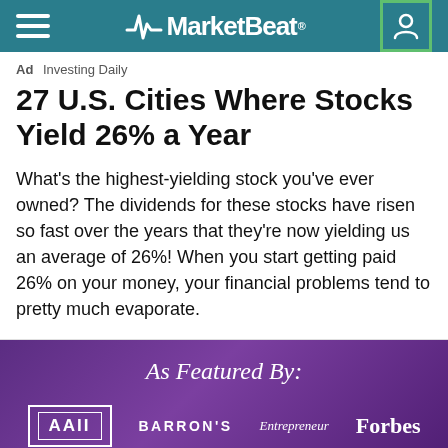MarketBeat
Ad  Investing Daily
27 U.S. Cities Where Stocks Yield 26% a Year
What's the highest-yielding stock you've ever owned? The dividends for these stocks have risen so fast over the years that they're now yielding us an average of 26%! When you start getting paid 26% on your money, your financial problems tend to pretty much evaporate.
As Featured By:
[Figure (logo): Logos of AAII, BARRON'S, Entrepreneur, Forbes, Inc, Investing Daily, PRAIRIE, Seeking Alpha on purple background]